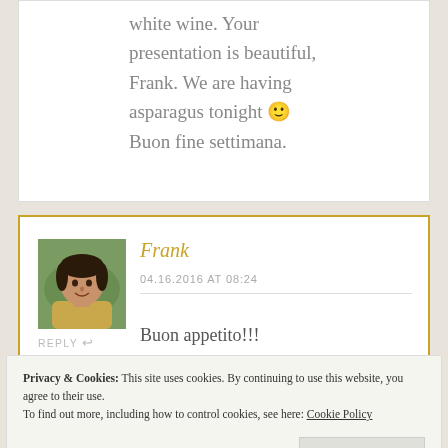white wine. Your presentation is beautiful, Frank. We are having asparagus tonight 🙂 Buon fine settimana.
Frank
04.16.2016 AT 08:24
REPLY
Buon appetito!!!
Privacy & Cookies: This site uses cookies. By continuing to use this website, you agree to their use. To find out more, including how to control cookies, see here: Cookie Policy
Close and accept